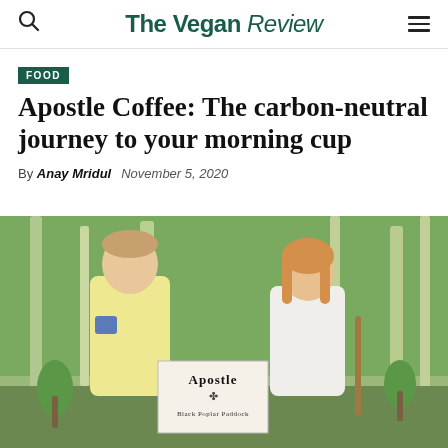The Vegan Review
FOOD
Apostle Coffee: The carbon-neutral journey to your morning cup
By Anay Mridul   November 5, 2020
[Figure (photo): Two people standing outdoors in a woodland setting, holding an Apostle Black Poplar Paddock sign/bag between them. A man in a yellow fleece on the left and a woman in a white jumper on the right.]